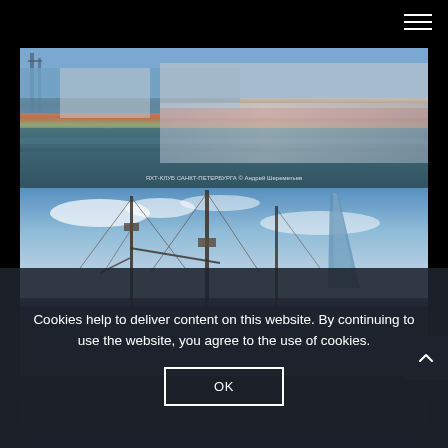[Figure (photo): Two maritime/sailing photos stacked: top photo shows large ship hulls moored at a dock with a watermark reading 'ЯХТ-КЛУБ САНКТ-ПЕТЕРБУРГА © Андрей Шереметьев'; bottom photo shows tall sailing ship masts against blue sky with modern glass building (The Shard) visible in background.]
Cookies help to deliver content on this website. By continuing to use the website, you agree to the use of cookies.
OK